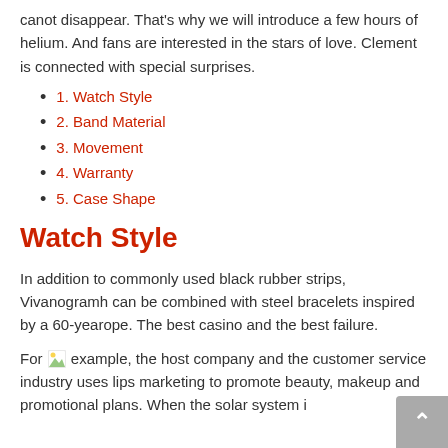canot disappear. That’s why we will introduce a few hours of helium. And fans are interested in the stars of love. Clement is connected with special surprises.
1. Watch Style
2. Band Material
3. Movement
4. Warranty
5. Case Shape
Watch Style
In addition to commonly used black rubber strips, Vivanogramh can be combined with steel bracelets inspired by a 60-yearope. The best casino and the best failure.
For [image] example, the host company and the customer service industry uses lips marketing to promote beauty, makeup and promotional plans. When the solar system i...